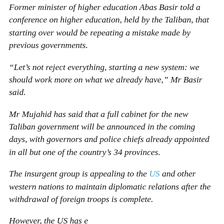Former minister of higher education Abas Basir told a conference on higher education, held by the Taliban, that starting over would be repeating a mistake made by previous governments.
“Let’s not reject everything, starting a new system: we should work more on what we already have,” Mr Basir said.
Mr Mujahid has said that a full cabinet for the new Taliban government will be announced in the coming days, with governors and police chiefs already appointed in all but one of the country’s 34 provinces.
The insurgent group is appealing to the US and other western nations to maintain diplomatic relations after the withdrawal of foreign troops is complete.
However, the US has ensure that that relations will only be...